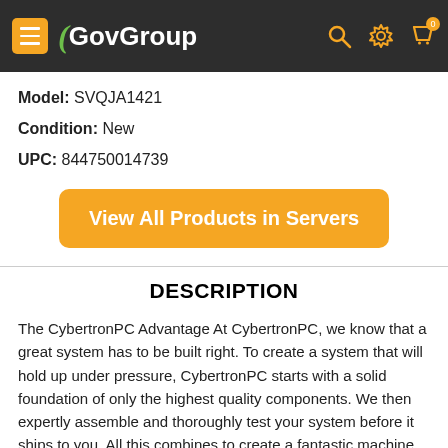GovGroup
Model: SVQJA1421
Condition: New
UPC: 844750014739
View All Products in Servers
DESCRIPTION
The CybertronPC Advantage At CybertronPC, we know that a great system has to be built right. To create a system that will hold up under pressure, CybertronPC starts with a solid foundation of only the highest quality components. We then expertly assemble and thoroughly test your system before it ships to you. All this combines to create a fantastic machine that you can rely on.